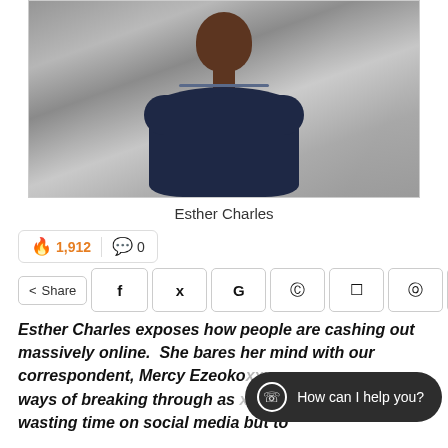[Figure (photo): Portrait photo of Esther Charles, a woman in a dark navy blue shirt with arms crossed, smiling, against a rocky background]
Esther Charles
🔥 1,912  💬 0
Share  f  y  G  reddit  whatsapp  pinterest  mail
Esther Charles exposes how people are cashing out massively online.  She bares her mind with our correspondent, Mercy Ezeoko [partially obscured] ways of breaking through as [partially obscured] youth to stop wasting time on social media but to
How can I help you?